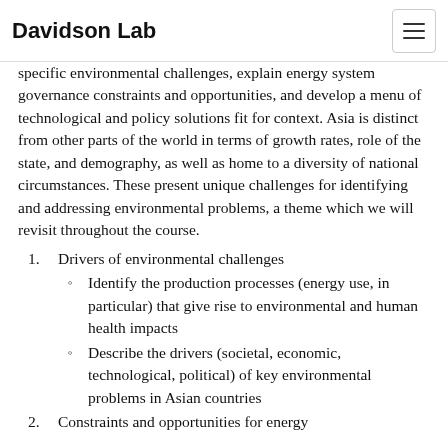Davidson Lab
specific environmental challenges, explain energy system governance constraints and opportunities, and develop a menu of technological and policy solutions fit for context. Asia is distinct from other parts of the world in terms of growth rates, role of the state, and demography, as well as home to a diversity of national circumstances. These present unique challenges for identifying and addressing environmental problems, a theme which we will revisit throughout the course.
1. Drivers of environmental challenges
Identify the production processes (energy use, in particular) that give rise to environmental and human health impacts
Describe the drivers (societal, economic, technological, political) of key environmental problems in Asian countries
2. Constraints and opportunities for energy